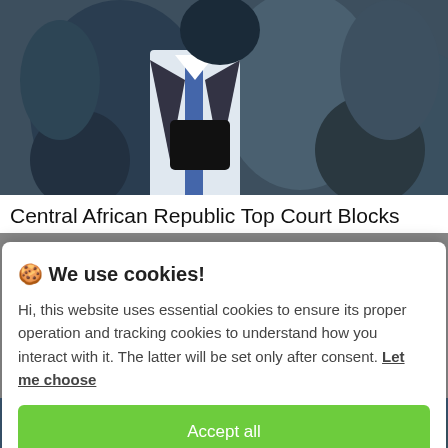[Figure (photo): A crowd scene photograph showing people, one wearing a suit with a tie, taken at close range. The image is partially obscured/cropped at the top of the page.]
Central African Republic Top Court Blocks
🍪 We use cookies!
Hi, this website uses essential cookies to ensure its proper operation and tracking cookies to understand how you interact with it. The latter will be set only after consent. Let me choose
Accept all
Reject all